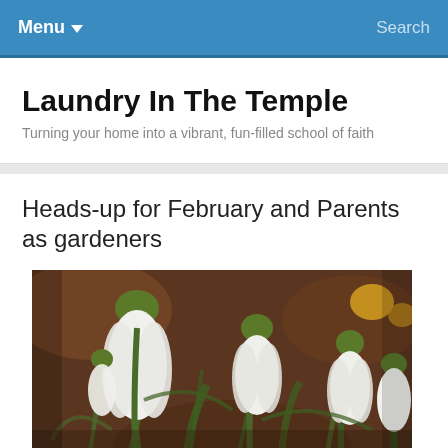Menu  Search
Laundry In The Temple
Turning your home into a vibrant, fun-filled school of faith
Heads-up for February and Parents as gardeners
[Figure (photo): Close-up photograph of snowdrop flowers (Galanthus) with white drooping petals and green tips, against a blurred background of autumn leaves and other flowers]